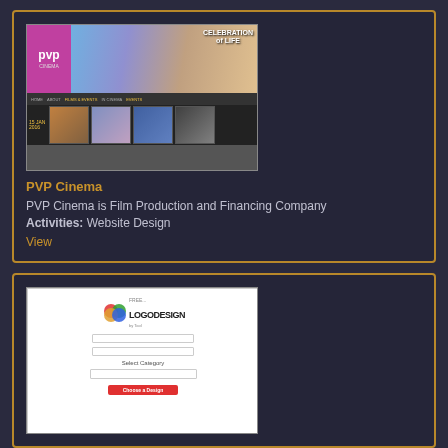[Figure (screenshot): PVP Cinema website screenshot showing the cinema's homepage with a purple logo, hero banner with movie imagery and 'Celebration of Life' text, navigation bar, and thumbnail film images below]
PVP Cinema
PVP Cinema is Film Production and Financing Company Activities: Website Design
View
[Figure (screenshot): Free Logo Design Tool website screenshot showing the logo design tool homepage with colorful circle logo, company name input, slogan input, Select Category dropdown, and Choose a Design button]